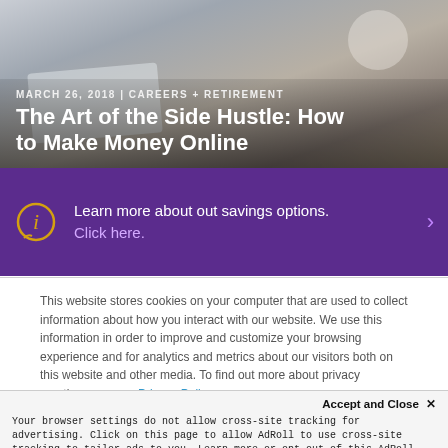[Figure (photo): Background photo of person working on laptop with coffee cup, blurred/muted tones]
MARCH 26, 2018 | CAREERS + RETIREMENT
The Art of the Side Hustle: How to Make Money Online
[Figure (infographic): Purple banner with info icon, text: Learn more about out savings options. Click here. With right arrow.]
This website stores cookies on your computer that are used to collect information about how you interact with our website. We use this information in order to improve and customize your browsing experience and for analytics and metrics about our visitors both on this website and other media. To find out more about privacy practices, see our Privacy Policy.
Accept and Close ✕
Your browser settings do not allow cross-site tracking for advertising. Click on this page to allow AdRoll to use cross-site tracking to tailor ads to you. Learn more or opt out of this AdRoll tracking by clicking here. This message only appears once.